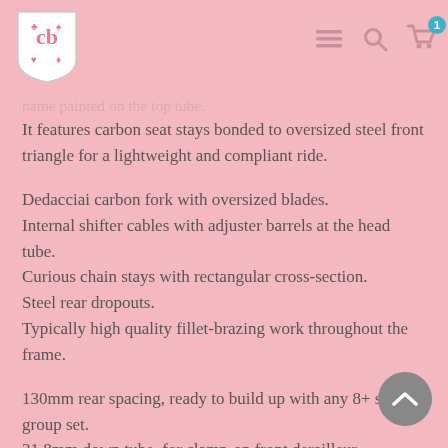CB logo, navigation menu, search, and cart icons
name painted on the top tube.
It features carbon seat stays bonded to oversized steel front triangle for a lightweight and compliant ride.
Dedacciai carbon fork with oversized blades.
Internal shifter cables with adjuster barrels at the head tube.
Curious chain stays with rectangular cross-section.
Steel rear dropouts.
Typically high quality fillet-brazing work throughout the frame.
130mm rear spacing, ready to build up with any 8+ speed group set.
31.8mm down tube, for clamp-on front derailleur.